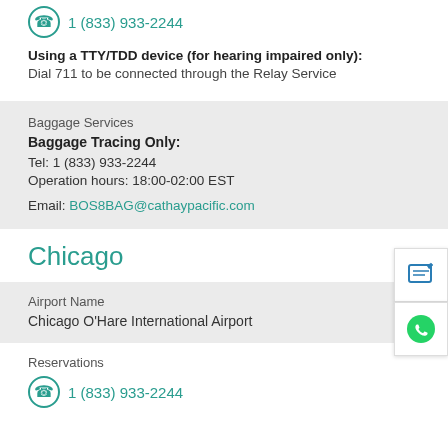[Figure (other): Phone icon with teal circle border]
1 (833) 933-2244
Using a TTY/TDD device (for hearing impaired only): Dial 711 to be connected through the Relay Service
Baggage Services
Baggage Tracing Only:
Tel: 1 (833) 933-2244
Operation hours: 18:00-02:00 EST

Email: BOS8BAG@cathaypacific.com
Chicago
Airport Name
Chicago O'Hare International Airport
Reservations
[Figure (other): Phone icon with teal circle border]
1 (833) 933-2244